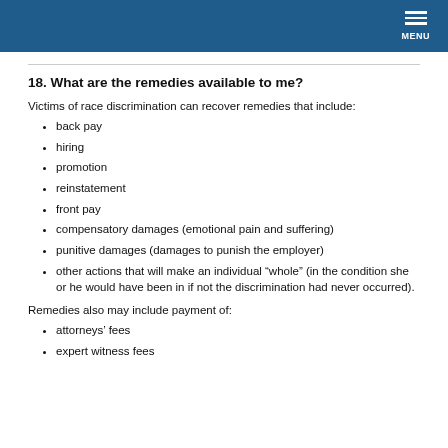MENU
18. What are the remedies available to me?
Victims of race discrimination can recover remedies that include:
back pay
hiring
promotion
reinstatement
front pay
compensatory damages (emotional pain and suffering)
punitive damages (damages to punish the employer)
other actions that will make an individual “whole” (in the condition she or he would have been in if not the discrimination had never occurred).
Remedies also may include payment of:
attorneys’ fees
expert witness fees